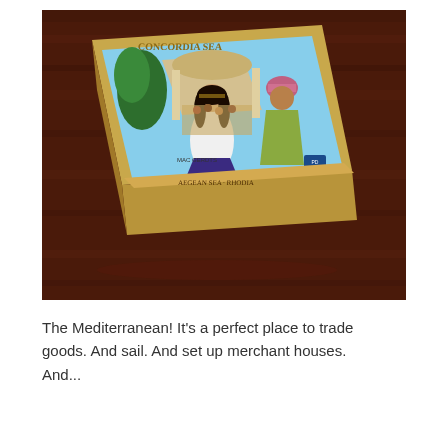[Figure (photo): A board game box titled 'Concordia Sea' (or similar Mediterranean-themed game by Mac Gerdts) photographed on a dark wooden table. The box cover shows an ancient Mediterranean marketplace scene with a woman in white robes and a merchant in colorful attire.]
The Mediterranean! It's a perfect place to trade goods. And sail. And set up merchant houses. And...